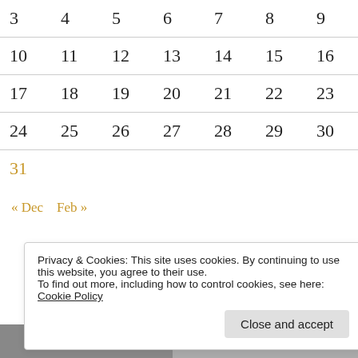| 3 | 4 | 5 | 6 | 7 | 8 | 9 |
| 10 | 11 | 12 | 13 | 14 | 15 | 16 |
| 17 | 18 | 19 | 20 | 21 | 22 | 23 |
| 24 | 25 | 26 | 27 | 28 | 29 | 30 |
| 31 |  |  |  |  |  |  |
« Dec   Feb »
Privacy & Cookies: This site uses cookies. By continuing to use this website, you agree to their use.
To find out more, including how to control cookies, see here:
Cookie Policy